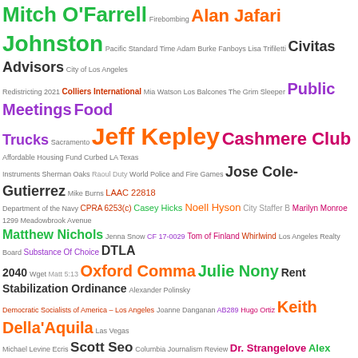[Figure (infographic): Word cloud featuring names and topics related to Los Angeles city government, community organizations, and public policy. Terms vary in size, color, and position. Includes names like Mitch O'Farrell, Alan Dahl, Johnston, Civitas Advisors, Jeff Kepley, Cashmere Club, Jose Cole-Gutierrez, Hollywood BID, Cahuenga Boulevard, Palos Verdes Peninsula, Streets and Highways Code 36670, LAMC 52.34, New City America, Alyssa Van Breene, CIM Group, Raquel K. Beard, Venice Community Housing, California State Judicial Council, LAMC 49.5.13, Debbie Dyner Harris, and many others.]